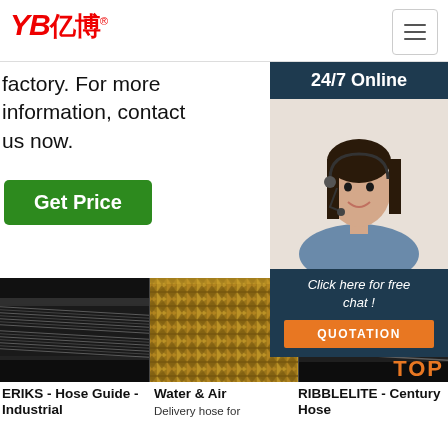[Figure (logo): YB亿博 logo in red italic text with registered trademark symbol]
[Figure (illustration): Hamburger menu button icon (three horizontal lines) in a square border]
factory. For more information, contact us now.
[Figure (illustration): 24/7 Online banner with customer service representative wearing headset]
[Figure (photo): Green Get Price button]
[Figure (photo): Three product photos: black industrial hose (ERIKS), braided golden hose (Water & Air), black rubber hose (RIBBLELITE)]
ERIKS - Hose Guide - Industrial
Water & Air
Delivery hose for
RIBBLELITE - Century Hose